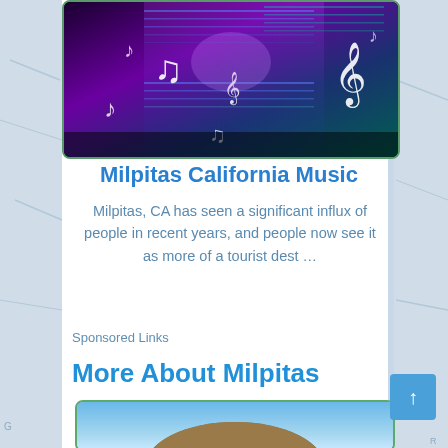[Figure (photo): Music-themed image with glowing music notes and clef symbols on a colorful digital background (purple, green, blue)]
Milpitas California Music
Milpitas, CA has seen a significant influx of people in recent years, and people now see it as more of a tourist dest …
Sponsored Links
More About Milpitas
[Figure (photo): Outdoor landscape photo with blue sky, partial view of a rounded hill or dome structure]